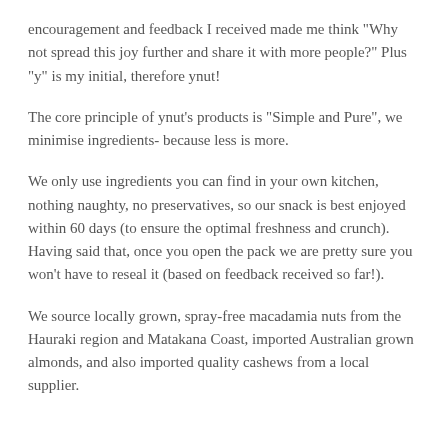encouragement and feedback I received made me think "Why not spread this joy further and share it with more people?" Plus "y" is my initial, therefore ynut!
The core principle of ynut's products is "Simple and Pure", we minimise ingredients- because less is more.
We only use ingredients you can find in your own kitchen, nothing naughty, no preservatives, so our snack is best enjoyed within 60 days (to ensure the optimal freshness and crunch). Having said that, once you open the pack we are pretty sure you won't have to reseal it (based on feedback received so far!).
We source locally grown, spray-free macadamia nuts from the Hauraki region and Matakana Coast, imported Australian grown almonds, and also imported quality cashews from a local supplier.